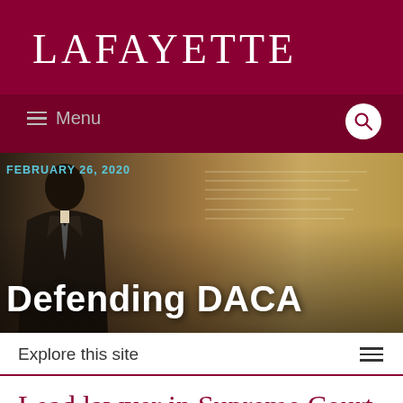LAFAYETTE
Menu
[Figure (photo): Hero image showing a man in a suit with a tie, against a warm beige/golden background. Date overlay reads FEBRUARY 26, 2020 and title overlay reads Defending DACA.]
FEBRUARY 26, 2020
Defending DACA
Explore this site
Lead lawyer in Supreme Court case speaks on